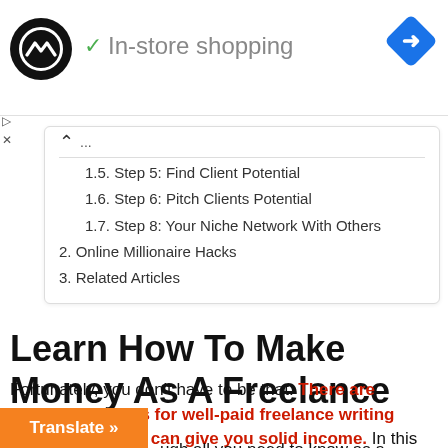[Figure (logo): Black circle logo with double arrow symbol and 'In-store shopping' text with green checkmark, plus blue navigation diamond icon on the right]
1.5. Step 5: Find Client Potential
1.6. Step 6: Pitch Clients Potential
1.7. Step 8: Your Niche Network With Others
2. Online Millionaire Hacks
3. Related Articles
Learn How To Make Money As A Freelance Writer
Fortunately, you don't have to be that. There are established ways for well-paid freelance writing employment that can give you solid income. In this article, [...]ugh all you need to know as a freelance
Translate »